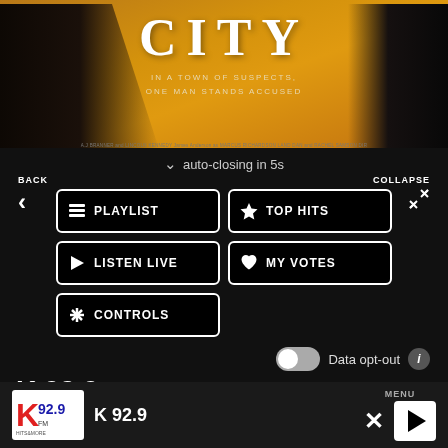[Figure (screenshot): Movie poster banner showing partial title 'CITY' in large white letters on an orange background, with tagline 'IN A TOWN OF SUSPECTS, ONE MAN STANDS ACCUSED' and a dark silhouette figure]
auto-closing in 5s
BACK
COLLAPSE
PLAYLIST
TOP HITS
LISTEN LIVE
MY VOTES
CONTROLS
Data opt-out
K 92.9
K 92.9
MENU